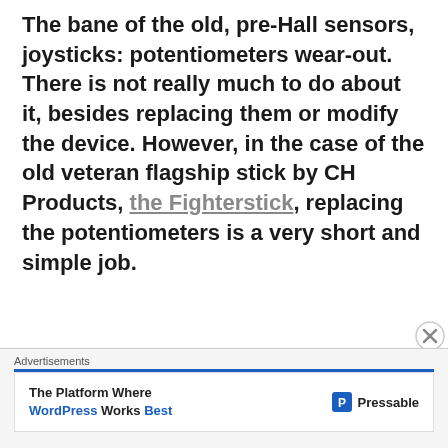The bane of the old, pre-Hall sensors, joysticks: potentiometers wear-out. There is not really much to do about it, besides replacing them or modify the device. However, in the case of the old veteran flagship stick by CH Products, the Fighterstick, replacing the potentiometers is a very short and simple job.
[Figure (other): Advertisement banner for Pressable: 'The Platform Where WordPress Works Best' with Pressable logo]